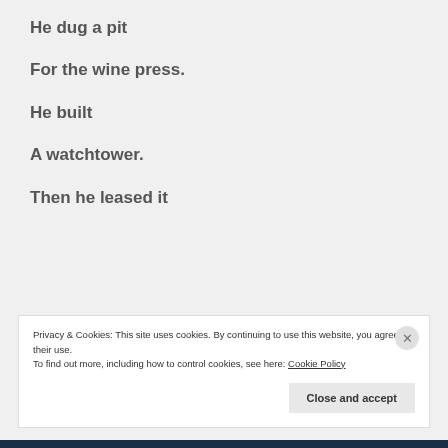He dug a pit
For the wine press.
He built
A watchtower.
Then he leased it
Privacy & Cookies: This site uses cookies. By continuing to use this website, you agree to their use.
To find out more, including how to control cookies, see here: Cookie Policy